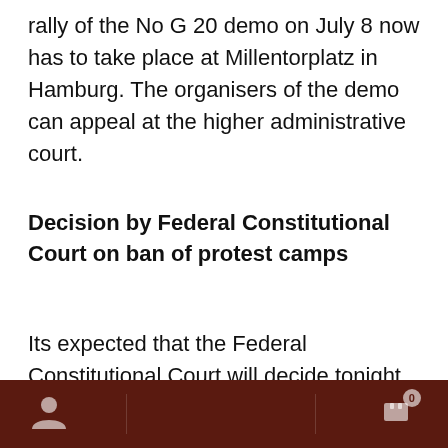rally of the No G 20 demo on July 8 now has to take place at Millentorplatz in Hamburg. The organisers of the demo can appeal at the higher administrative court.
Decision by Federal Constitutional Court on ban of protest camps
Its expected that the Federal Constitutional Court will decide tonight or tomorrow on the ban of protest camps in Stadtpark and Volkspark in Hamburg. In case the court decides to confirm the ban, activists are calling for...
On February 1, 2021, Our Online-Shop will be closed. All orders until January 31 will be delivered
Dismiss
We use cookies to ensure that we give you the best experience on our website. If you continue to use this site we will assume that you are happy with it.
Ok